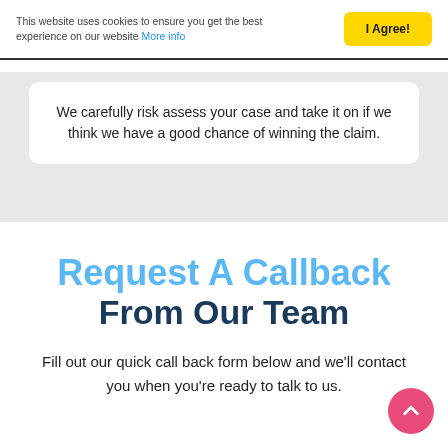This website uses cookies to ensure you get the best experience on our website More info
We carefully risk assess your case and take it on if we think we have a good chance of winning the claim.
Request A Callback From Our Team
Fill out our quick call back form below and we'll contact you when you're ready to talk to us.